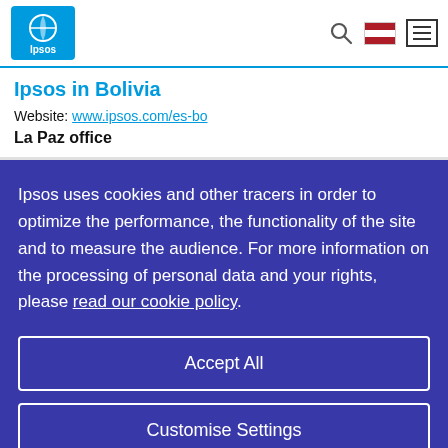Ipsos logo | search icon | Netherlands flag | menu icon
Ipsos in Bolivia
Website: www.ipsos.com/es-bo
La Paz office
Ipsos uses cookies and other tracers in order to optimize the performance, the functionality of the site and to measure the audience. For more information on the processing of personal data and your rights, please read our cookie policy.
Accept All
Customise Settings